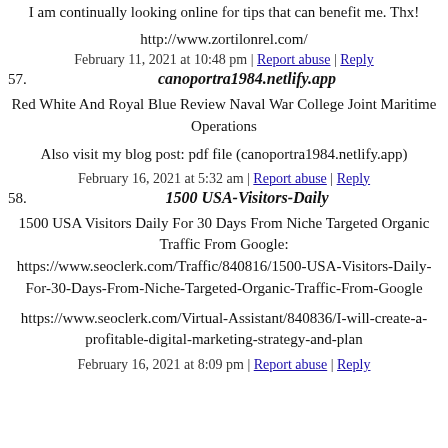I am continually looking online for tips that can benefit me. Thx!
http://www.zortilonrel.com/
February 11, 2021 at 10:48 pm | Report abuse | Reply
57. canoportra1984.netlify.app
Red White And Royal Blue Review Naval War College Joint Maritime Operations
Also visit my blog post: pdf file (canoportra1984.netlify.app)
February 16, 2021 at 5:32 am | Report abuse | Reply
58. 1500 USA-Visitors-Daily
1500 USA Visitors Daily For 30 Days From Niche Targeted Organic Traffic From Google: https://www.seoclerk.com/Traffic/840816/1500-USA-Visitors-Daily-For-30-Days-From-Niche-Targeted-Organic-Traffic-From-Google
https://www.seoclerk.com/Virtual-Assistant/840836/I-will-create-a-profitable-digital-marketing-strategy-and-plan
February 16, 2021 at 8:09 pm | Report abuse | Reply